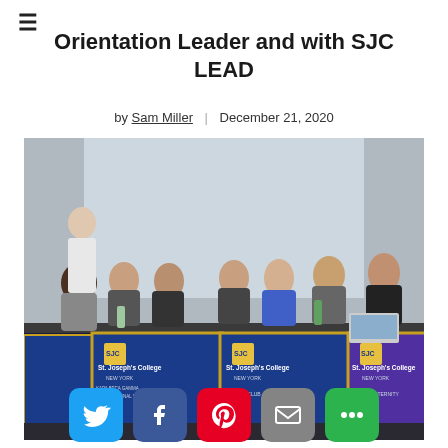Orientation Leader and with SJC LEAD
by Sam Miller | December 21, 2020
[Figure (photo): Students sitting at a long table covered with St. Joseph's College New York banners for clubs including KAPA BETA GAMMA DELTA International Sorority, DANE CLUB, LGBTQA, and AΦΔ Fraternity]
[Figure (infographic): Social sharing buttons: Twitter (blue), Facebook (blue), Pinterest (red), Email (gray), More (green)]